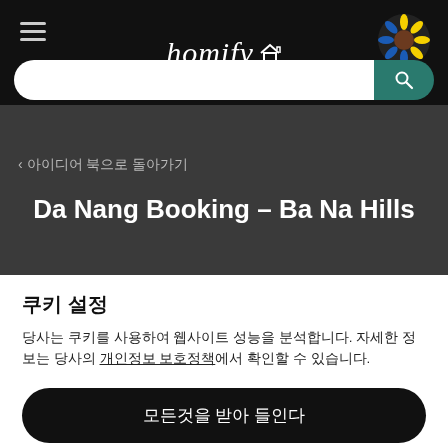homify
< 아이디어 북으로 돌아가기
Da Nang Booking – Ba Na Hills
쿠키 설정
당사는 쿠키를 사용하여 웹사이트 성능을 분석합니다. 자세한 정보는 당사의 개인정보 보호정책에서 확인할 수 있습니다.
모든것을 받아 들인다
거부하다